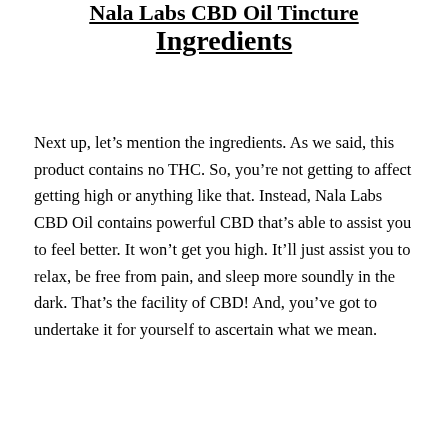Nala Labs CBD Oil Tincture Ingredients
Next up, let’s mention the ingredients. As we said, this product contains no THC. So, you’re not getting to affect getting high or anything like that. Instead, Nala Labs CBD Oil contains powerful CBD that’s able to assist you to feel better. It won’t get you high. It’ll just assist you to relax, be free from pain, and sleep more soundly in the dark. That’s the facility of CBD! And, you’ve got to undertake it for yourself to ascertain what we mean.
[Figure (infographic): Red banner with bold text 'Biznutra Health Supplement CO' followed by a gray background area containing an orange gradient 'Order Now' button]